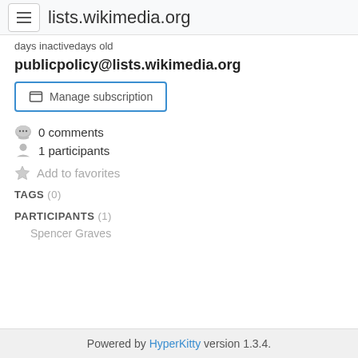lists.wikimedia.org
days inactivedays old
publicpolicy@lists.wikimedia.org
Manage subscription
0 comments
1 participants
Add to favorites
TAGS (0)
PARTICIPANTS (1)
Spencer Graves
Powered by HyperKitty version 1.3.4.